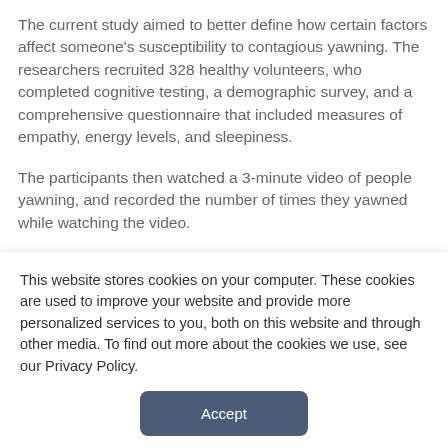The current study aimed to better define how certain factors affect someone's susceptibility to contagious yawning. The researchers recruited 328 healthy volunteers, who completed cognitive testing, a demographic survey, and a comprehensive questionnaire that included measures of empathy, energy levels, and sleepiness.
The participants then watched a 3-minute video of people yawning, and recorded the number of times they yawned while watching the video.
The researchers found that certain individuals were less susceptible to contagious yawns than others, with participants yawning between zero and 15 times during the video. Of the 328 people studied, 222 contagiously yawned at least once. When verified
This website stores cookies on your computer. These cookies are used to improve your website and provide more personalized services to you, both on this website and through other media. To find out more about the cookies we use, see our Privacy Policy.